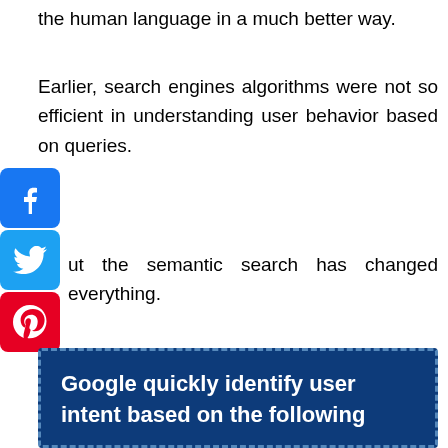the human language in a much better way.
Earlier, search engines algorithms were not so efficient in understanding user behavior based on queries.
But the semantic search has changed everything.
Semantic search helps search engine giants to differentiate people, places, and things.
Google quickly identify user intent based on the following